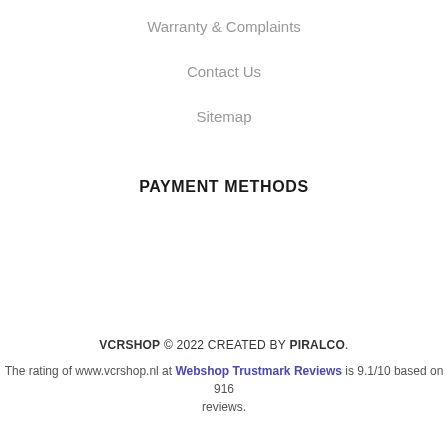Warranty & Complaints
Contact Us
Sitemap
PAYMENT METHODS
VCRSHOP © 2022 CREATED BY PIRALCO. The rating of www.vcrshop.nl at Webshop Trustmark Reviews is 9.1/10 based on 916 reviews.